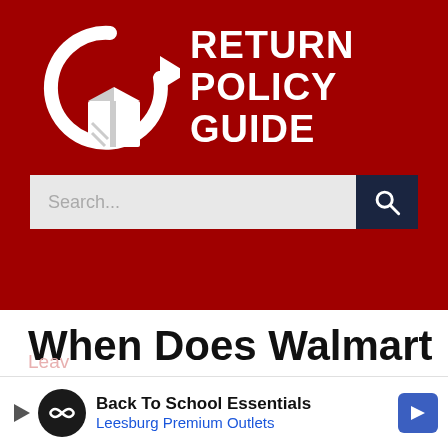[Figure (logo): Return Policy Guide logo with white refresh/package icon on dark red background and bold white text reading RETURN POLICY GUIDE]
When Does Walmart Restock?